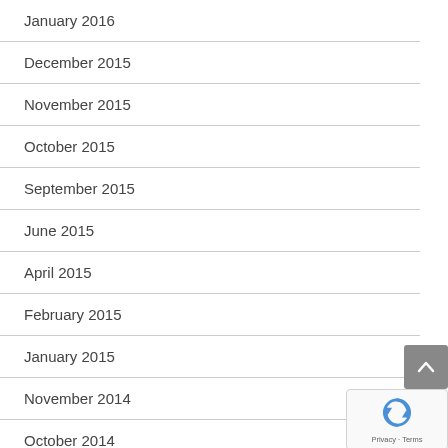January 2016
December 2015
November 2015
October 2015
September 2015
June 2015
April 2015
February 2015
January 2015
November 2014
October 2014
September 2014
August 2014